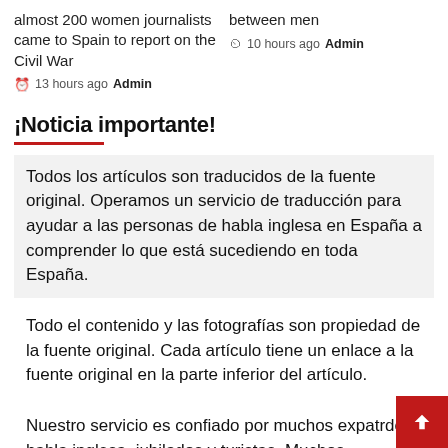almost 200 women journalists came to Spain to report on the Civil War
13 hours ago Admin
between men
10 hours ago Admin
¡Noticia importante!
Todos los artículos son traducidos de la fuente original. Operamos un servicio de traducción para ayudar a las personas de habla inglesa en España a comprender lo que está sucediendo en toda España.
Todo el contenido y las fotografías son propiedad de la fuente original. Cada artículo tiene un enlace a la fuente original en la parte inferior del artículo.
Nuestro servicio es confiado por muchos expatr de habla inglesa, jubilados y turistas. Muchos